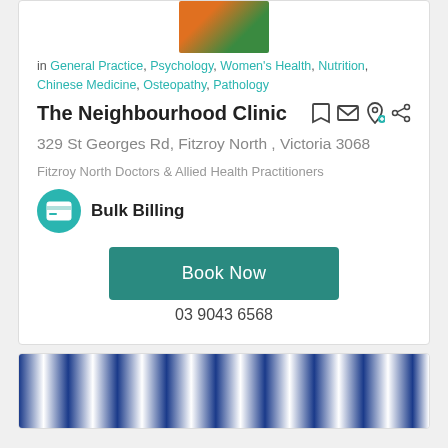[Figure (photo): Clinic logo or image at top of card]
in General Practice, Psychology, Women's Health, Nutrition, Chinese Medicine, Osteopathy, Pathology
The Neighbourhood Clinic
329 St Georges Rd, Fitzroy North , Victoria 3068
Fitzroy North Doctors & Allied Health Practitioners
[Figure (logo): Bulk Billing icon - teal circle with card icon]
Bulk Billing
Book Now
03 9043 6568
[Figure (photo): Interior photo of clinic with blue and white vertical striped wall panels]